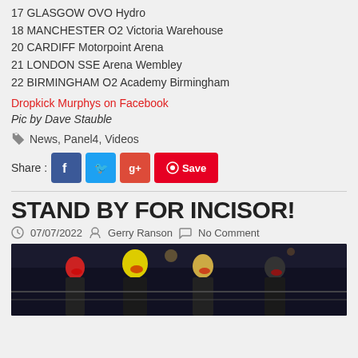17 GLASGOW OVO Hydro
18 MANCHESTER O2 Victoria Warehouse
20 CARDIFF Motorpoint Arena
21 LONDON SSE Arena Wembley
22 BIRMINGHAM O2 Academy Birmingham
Dropkick Murphys on Facebook
Pic by Dave Stauble
News, Panel4, Videos
Share :
STAND BY FOR INCISOR!
07/07/2022  Gerry Ranson  No Comment
[Figure (photo): Band photo showing four people with colorful hair and sunglasses standing outdoors at night]